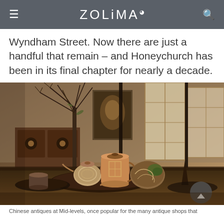ZOLiMA
Wyndham Street. Now there are just a handful that remain – and Honeychurch has been in its final chapter for nearly a decade.
[Figure (photo): Close-up photograph of ornate Chinese teapots and tea ceremony items on a wooden table, with a decorative plant and Japanese-style sliding door panels in the background.]
Chinese antiques at Mid-levels, once popular for the many antique shops that